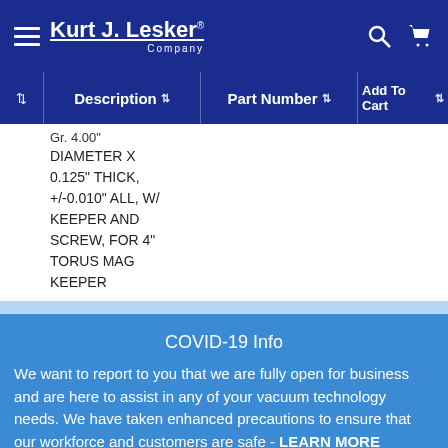Kurt J. Lesker Company
|  | Description | Part Number | Add To Cart |
| --- | --- | --- | --- |
|  | DIAMETER X 0.125" THICK, +/-0.010" ALL, W/ KEEPER AND SCREW, FOR 4" TORUS MAG KEEPER |  |  |
|  | DIAMETER X |  |  |
COVID-19 Info
We want to report to you that we are fully open for business and are here to assist in any of your vacuum technology needs. We have taken enhanced precautions to ensure that our workforce and customers are safe - LEARN MORE
Dismiss